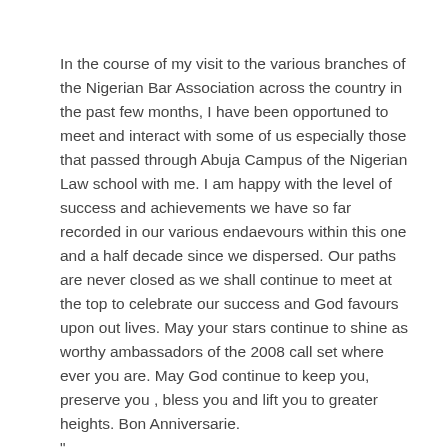In the course of my visit to the various branches of the Nigerian Bar Association across the country in the past few months, I have been opportuned to meet and interact with some of us especially those that passed through Abuja Campus of the Nigerian Law school with me. I am happy with the level of success and achievements we have so far recorded in our various endaevours within this one and a half decade since we dispersed. Our paths are never closed as we shall continue to meet at the top to celebrate our success and God favours upon out lives. May your stars continue to shine as worthy ambassadors of the 2008 call set where ever you are. May God continue to keep you, preserve you , bless you and lift you to greater heights. Bon Anniversarie. "